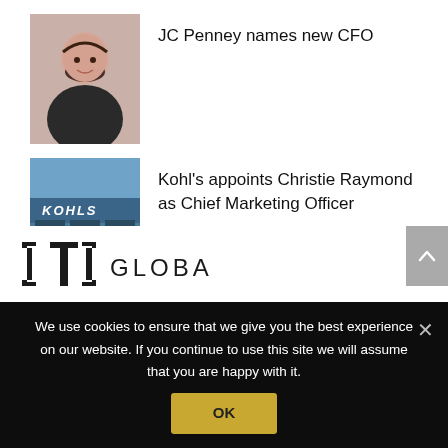[Figure (photo): Portrait photo of a woman (JC Penney new CFO)]
JC Penney names new CFO
[Figure (photo): Exterior photo of a Kohl's store building]
Kohl's appoints Christie Raymond as Chief Marketing Officer
EVENTS
[Figure (logo): Global brand logo with stylized icon and GLOBAL text]
We use cookies to ensure that we give you the best experience on our website. If you continue to use this site we will assume that you are happy with it.